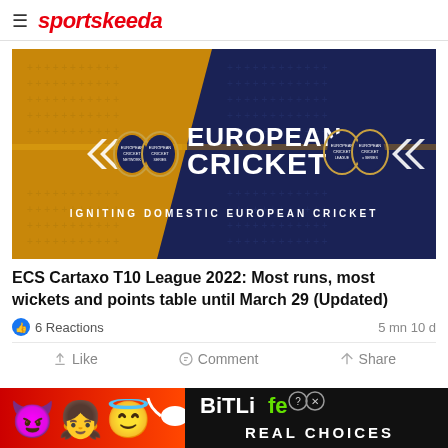sportskeeda
[Figure (photo): European Cricket branded banner image with gold and navy background. Left half is gold/amber with plus sign pattern, right half is dark navy with plus sign pattern. Center displays 'EUROPEAN CRICKET' in large white bold text with oval European Cricket Network logos on either side. Below reads 'IGNITING DOMESTIC EUROPEAN CRICKET' in spaced white uppercase text. Decorative white chevron/arrow shapes frame the cricket logos.]
ECS Cartaxo T10 League 2022: Most runs, most wickets and points table until March 29 (Updated)
6 Reactions    5 mn 10 d
Like  Comment  Share
[Figure (photo): BitLife advertisement banner with red-orange gradient background showing emojis (devil, girl, angel) on left and BitLife logo with 'REAL CHOICES' tagline on dark right portion.]